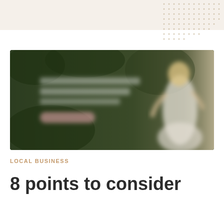[Figure (other): Decorative dot pattern in top right corner on a beige/cream header bar background]
[Figure (photo): Blurred banner image of a bride in a white dress standing outdoors in a green/forest setting, with overlaid blurred text and a button]
LOCAL BUSINESS
8 points to consider